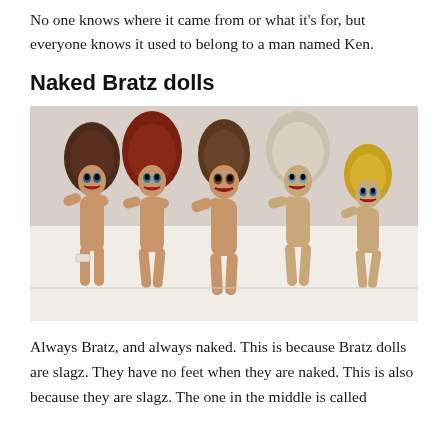No one knows where it came from or what it's for, but everyone knows it used to belong to a man named Ken.
Naked Bratz dolls
[Figure (photo): Five naked Bratz dolls with big hair and large eyes sitting together in a row, varying hair colors from dark brown to blonde, no clothing, no feet, photographed on a white surface.]
Always Bratz, and always naked. This is because Bratz dolls are slagz. They have no feet when they are naked. This is also because they are slagz. The one in the middle is called